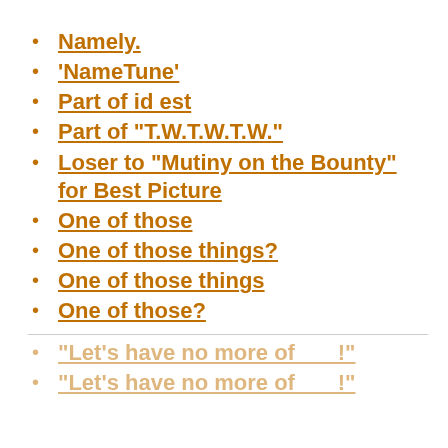Namely.
'NameTune'
Part of id est
Part of "T.W.T.W.T.W."
Loser to "Mutiny on the Bounty" for Best Picture
One of those
One of those things?
One of those things
One of those?
"Let's have no more of ___!"
"Let's have no more of ___!"